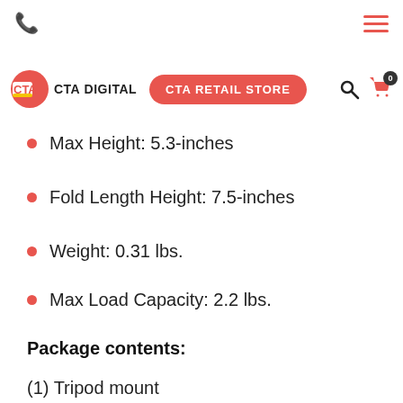Phone icon | Hamburger menu
[Figure (logo): CTA Digital logo: red circle with CTA text and 'CTA DIGITAL' wordmark, plus CTA RETAIL STORE button and search/cart icons]
Max Height: 5.3-inches
Fold Length Height: 7.5-inches
Weight: 0.31 lbs.
Max Load Capacity: 2.2 lbs.
Package contents:
(1) Tripod mount